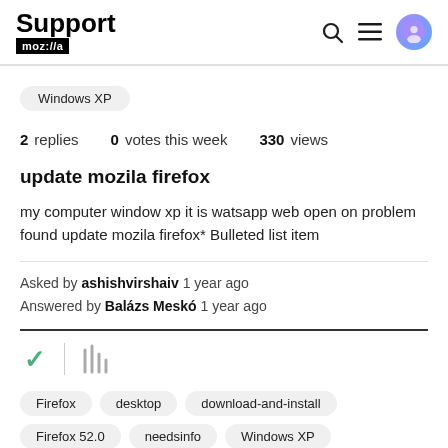Support mozilla // a
Windows XP
2 replies  0 votes this week  330 views
update mozila firefox
my computer window xp it is watsapp web open on problem found update mozila firefox* Bulleted list item
Asked by ashishvirshaiv 1 year ago
Answered by Balázs Meskó 1 year ago
Firefox  desktop  download-and-install
Firefox 52.0  needsinfo  Windows XP